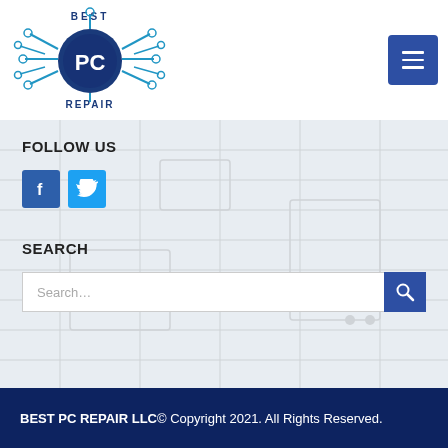[Figure (logo): Best PC Repair LLC logo — dark blue circuit chip graphic with 'PC' in white text, 'BEST' above and 'REPAIR' below in dark blue lettering]
[Figure (other): Hamburger menu button — dark blue square with three horizontal white lines]
FOLLOW US
[Figure (other): Facebook icon button — blue square with white 'f']
[Figure (other): Twitter icon button — light blue square with white bird]
SEARCH
[Figure (other): Search bar with placeholder text 'Search...' and dark blue search button with magnifier icon]
BEST PC REPAIR LLC© Copyright 2021. All Rights Reserved.